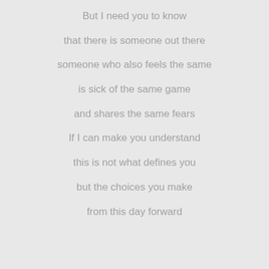But I need you to know
that there is someone out there
someone who also feels the same
is sick of the same game
and shares the same fears
If I can make you understand
this is not what defines you
but the choices you make
from this day forward